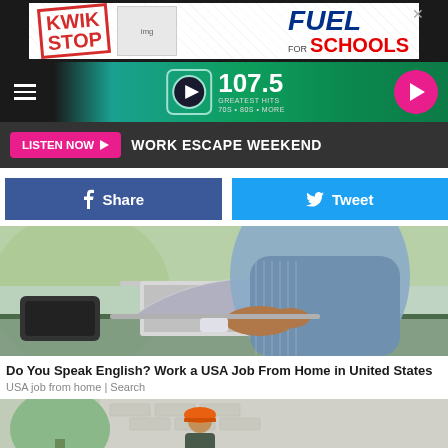[Figure (other): Kwik Stop / Fuel for Schools advertisement banner]
[Figure (logo): Q107.5 Greatest Hits radio station navigation bar with hamburger menu and play button]
LISTEN NOW ▶  WORK ESCAPE WEEKEND
[Figure (other): Facebook Share button and Twitter Tweet button]
[Figure (photo): Person in blue shirt working on a laptop computer outdoors]
Do You Speak English? Work a USA Job From Home in United States
USA job from home | Search
[Figure (photo): Person wearing orange hard hat at a construction site]